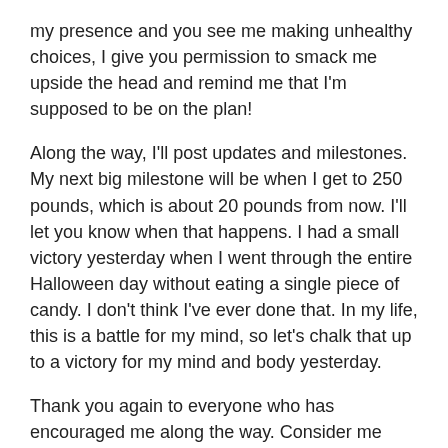my presence and you see me making unhealthy choices, I give you permission to smack me upside the head and remind me that I'm supposed to be on the plan!
Along the way, I'll post updates and milestones. My next big milestone will be when I get to 250 pounds, which is about 20 pounds from now. I'll let you know when that happens. I had a small victory yesterday when I went through the entire Halloween day without eating a single piece of candy. I don't think I've ever done that. In my life, this is a battle for my mind, so let's chalk that up to a victory for my mind and body yesterday.
Thank you again to everyone who has encouraged me along the way. Consider me back on The Lloyd Plan, and if you'd like to follow along, let's keep each other accountable!